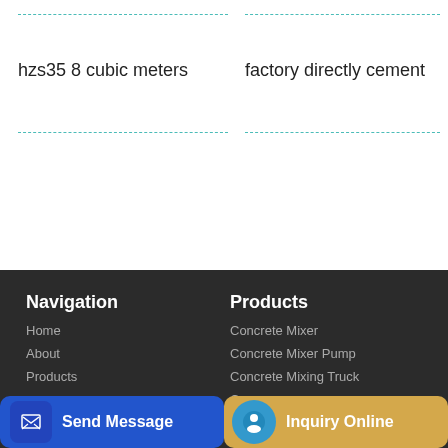hzs35 8 cubic meters
factory directly cement
Navigation
Home
About
Products
Products
Concrete Mixer
Concrete Mixer Pump
Concrete Mixing Truck
Co...
Send Message | Inquiry Online